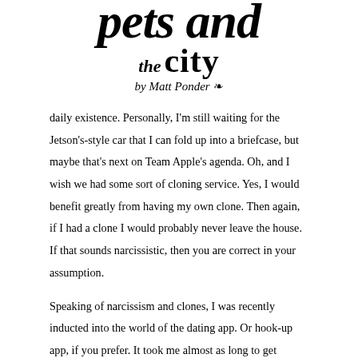Pets and the City by Matt Ponder
daily existence. Personally, I'm still waiting for the Jetson's-style car that I can fold up into a briefcase, but maybe that's next on Team Apple's agenda. Oh, and I wish we had some sort of cloning service. Yes, I would benefit greatly from having my own clone. Then again, if I had a clone I would probably never leave the house. If that sounds narcissistic, then you are correct in your assumption.
Speaking of narcissism and clones, I was recently inducted into the world of the dating app. Or hook-up app, if you prefer. It took me almost as long to get involved with this world as it did when Facebook was in its infancy, but I'm finding that there are fascinating things you can learn about people through their brief profiles, strange photographs and